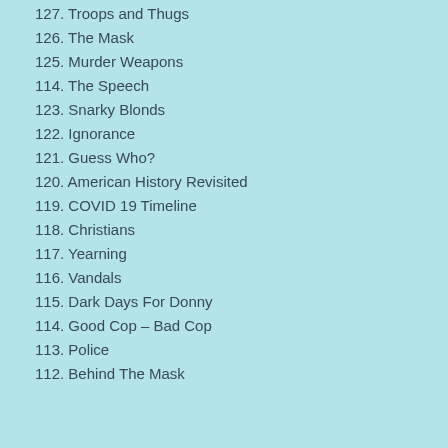127. Troops and Thugs
126. The Mask
125. Murder Weapons
114. The Speech
123. Snarky Blonds
122. Ignorance
121. Guess Who?
120. American History Revisited
119. COVID 19 Timeline
118. Christians
117. Yearning
116.  Vandals
115. Dark Days For Donny
114. Good Cop – Bad Cop
113. Police
112. Behind The Mask